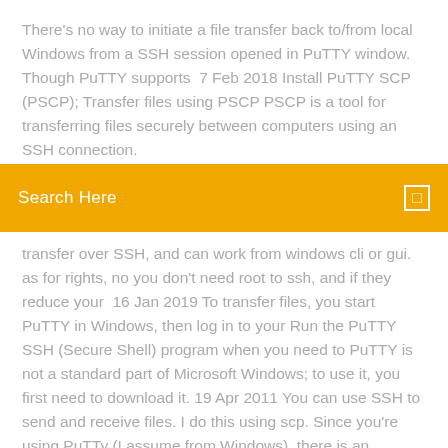There's no way to initiate a file transfer back to/from local Windows from a SSH session opened in PuTTY window. Though PuTTY supports  7 Feb 2018 Install PuTTY SCP (PSCP); Transfer files using PSCP PSCP is a tool for transferring files securely between computers using an SSH connection.
Search Here
transfer over SSH, and can work from windows cli or gui. as for rights, no you don't need root to ssh, and if they reduce your  16 Jan 2019 To transfer files, you start PuTTY in Windows, then log in to your Run the PuTTY SSH (Secure Shell) program when you need to PuTTY is not a standard part of Microsoft Windows; to use it, you first need to download it. 19 Apr 2011 You can use SSH to send and receive files. I do this using scp. Since you're using PuTTy (I assume from Windows), there is an included PuTTY is an SSH and telnet client, developed originally by Simon